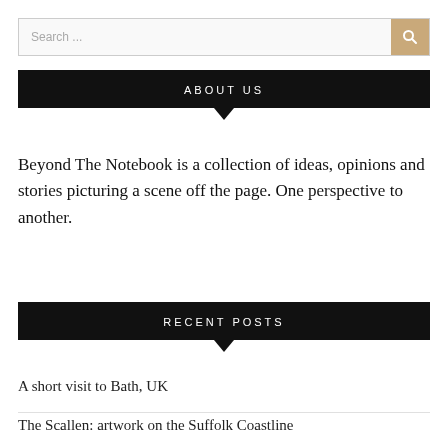Search ...
ABOUT US
Beyond The Notebook is a collection of ideas, opinions and stories picturing a scene off the page. One perspective to another.
RECENT POSTS
A short visit to Bath, UK
The Scallen: artwork on the Suffolk Coastline